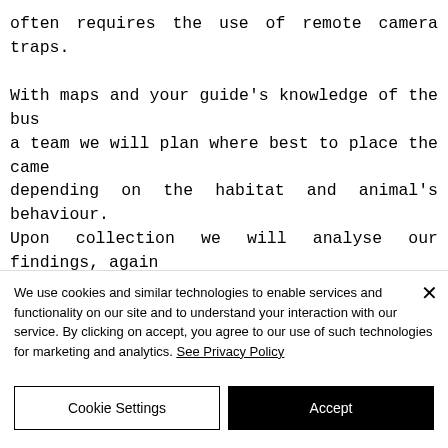often requires the use of remote camera traps.
With maps and your guide's knowledge of the bush, a team we will plan where best to place the cameras depending on the habitat and animal's behaviour. Upon collection we will analyse our findings, again recording the data and plotting the animals habits to gain a better understanding of their needs and movements.
We use cookies and similar technologies to enable services and functionality on our site and to understand your interaction with our service. By clicking on accept, you agree to our use of such technologies for marketing and analytics. See Privacy Policy